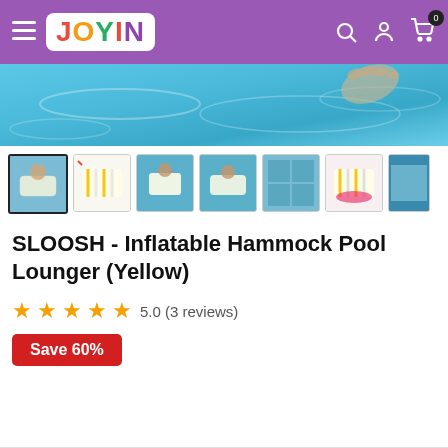JOYIN - navigation header with hamburger menu, logo, search, account, and cart icons
[Figure (photo): Hero product image showing feet relaxing on inflatable pool lounger in blue pool water]
[Figure (photo): Product thumbnail gallery showing 7 images of the SLOOSH Inflatable Hammock Pool Lounger (Yellow) from various angles]
SLOOSH - Inflatable Hammock Pool Lounger (Yellow)
5.0 (3 reviews)
Save 60%